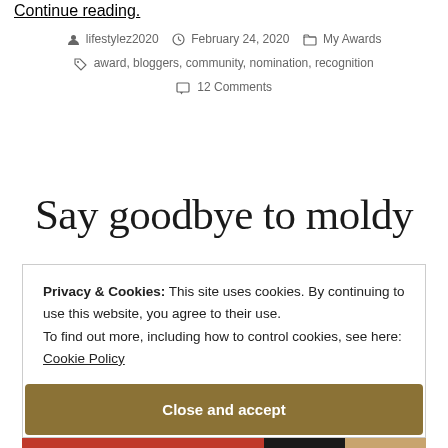Continue reading.
lifestylez2020   February 24, 2020   My Awards
award, bloggers, community, nomination, recognition
12 Comments
Say goodbye to moldy
Privacy & Cookies: This site uses cookies. By continuing to use this website, you agree to their use.
To find out more, including how to control cookies, see here:
Cookie Policy
Close and accept